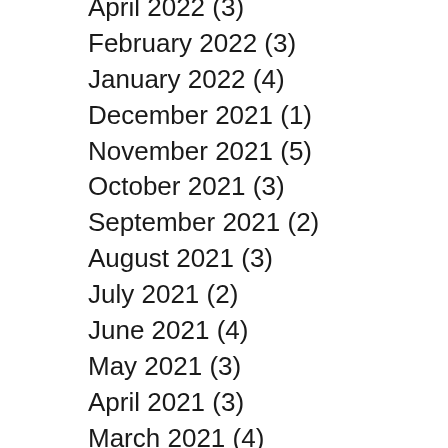April 2022 (3)
February 2022 (3)
January 2022 (4)
December 2021 (1)
November 2021 (5)
October 2021 (3)
September 2021 (2)
August 2021 (3)
July 2021 (2)
June 2021 (4)
May 2021 (3)
April 2021 (3)
March 2021 (4)
February 2021 (7)
January 2021 (2)
December 2020 (2)